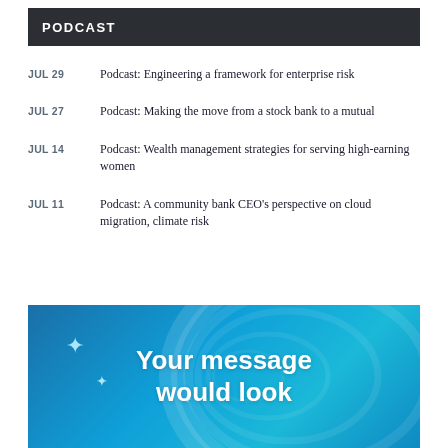PODCAST
JUL 29  Podcast: Engineering a framework for enterprise risk
JUL 27  Podcast: Making the move from a stock bank to a mutual
JUL 14  Podcast: Wealth management strategies for serving high-earning women
JUL 11  Podcast: A community bank CEO's perspective on cloud migration, climate risk
[Figure (illustration): Blue gradient advertisement banner with swirl design and white bold text reading 'Your message would look']